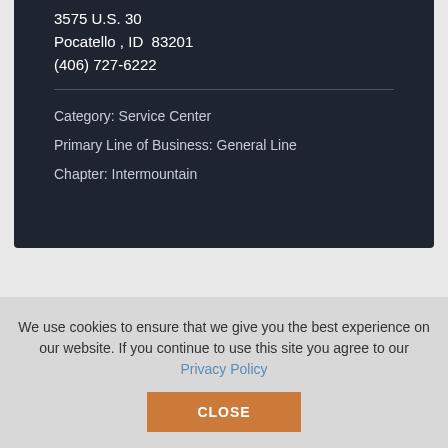3575 U.S. 30
Pocatello , ID  83201
(406) 727-6222
Category: Service Center
Primary Line of Business: General Line
Chapter: Intermountain
Pacific Recycling
We use cookies to ensure that we give you the best experience on our website. If you continue to use this site you agree to our Privacy Policy